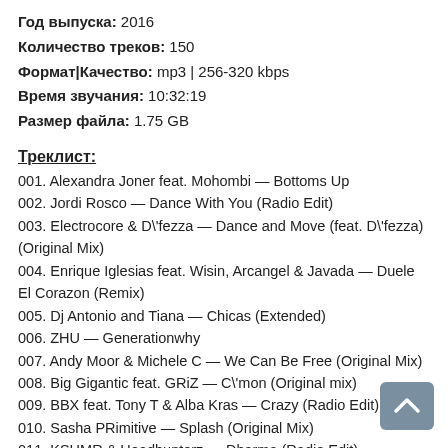Год выпуска: 2016
Количество треков: 150
Формат|Качество: mp3 | 256-320 kbps
Время звучания: 10:32:19
Размер файла: 1.75 GB
Треклист:
001. Alexandra Joner feat. Mohombi — Bottoms Up
002. Jordi Rosco — Dance With You (Radio Edit)
003. Electrocore & D\'fezza — Dance and Move (feat. D\'fezza) (Original Mix)
004. Enrique Iglesias feat. Wisin, Arcangel & Javada — Duele El Corazon (Remix)
005. Dj Antonio and Tiana — Chicas (Extended)
006. ZHU — Generationwhy
007. Andy Moor & Michele C — We Can Be Free (Original Mix)
008. Big Gigantic feat. GRiZ — C\'mon (Original mix)
009. BBX feat. Tony T & Alba Kras — Crazy (Radio Edit)
010. Sasha PRimitive — Splash (Original Mix)
011. KSHMR & Headhunterz — Dharma (Radio Edit)
012. Pitbull — Superstar (feat. Becky G)